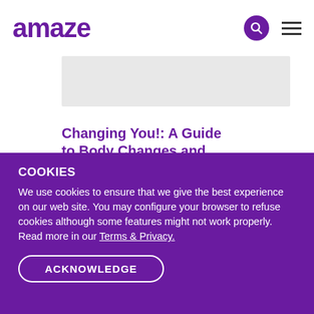amaze
Changing You!: A Guide to Body Changes and Sexuality
An honest and reassuring guide to puberty for
It's So Am
A Book abc Sperm, Birt
Robie H. Ha
COOKIES
We use cookies to ensure that we give the best experience on our web site. You may configure your browser to refuse cookies although some features might not work properly. Read more in our Terms & Privacy.
ACKNOWLEDGE